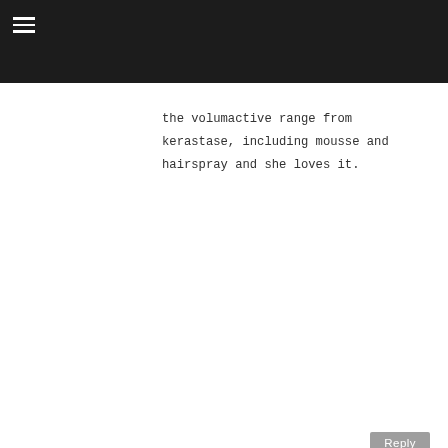the volumactive range from kerastase, including mousse and hairspray and she loves it.
Reply
SHEEFA F
12 February 2011 at 22:22
love love love your hair Halima! I've started chopping my hair myself too as I find the